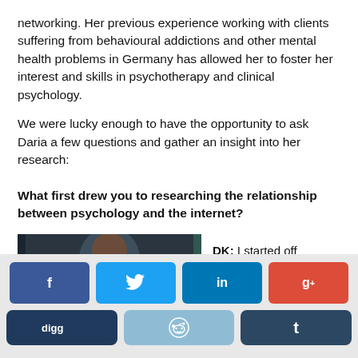networking. Her previous experience working with clients suffering from behavioural addictions and other mental health problems in Germany has allowed her to foster her interest and skills in psychotherapy and clinical psychology.
We were lucky enough to have the opportunity to ask Daria a few questions and gather an insight into her research:
What first drew you to researching the relationship between psychology and the internet?
[Figure (photo): Photo of a woman with reddish-brown hair, cropped, partial view]
DK: I started off researching
[Figure (other): Social sharing buttons: Facebook, Twitter, LinkedIn, Google+, Digg, Reddit, Tumblr]